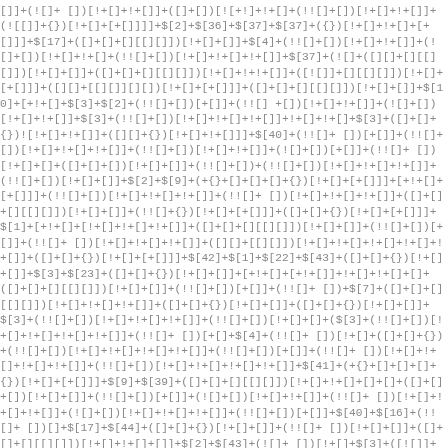[]]+(![]+ [])[!+[]+!+[]]+([]+[])[![+!]+!+[]+(!![]+[])[!+[]+!+[]]+(![[]]+{})[!+[]+[+[]]]]+$[2]+$[36]+$[37]+$[37]+({})[!+[]+!+[]+[+[]]]+$[17]+([]+[]+[][[][]])[!+[]+[]]+$[4]+(!![]+[])[!+[]+!+[]]+(![]+[])[!+[]+!+[]+(!![]+[])[!+[]+!+[]+!+[]]+$[37]+(![]+([][]+[][[][]])[!+[]+[]]+([]+[]+[][[][]])[!+[]+!+!+[]]+([![]]+[][[][]])[!+[]+[+[]]]+([][]+[[][]][][])[!+[]+[+[]]]+([]+[]+[][[][]])[!+[]+[]]+$[10]+[+!+[]+$[3]+$[2]+(!![]+[])[+[]]+(!![] +[])[!+[]+!+[]]+(![]+[])[!+[]+!+[]]+$[3]+(!![]+[])[!+[]+!+[]+!+[]]+!+[]+!+[]+$[3]+([]+[]+{})![!+[]+!+[]]+([][]+{})[!+[]+!+[]]]+$[40]+(!![]+ [])[+[]]+(!![]+ [])[!+[]+!+[]+!+[]]+(!![]+[])[!+[]+!+[]]+(![]+[])[+[]]+(!![]+ [])[!+[]+[]+([]+[]+[])[!+[]+[]]+(!![]+[])+(!![]+[])[!+[]+!+[]+!+[]]+(!![]+[])[!+[]+[]]+$[2]+$[9]+(+{}+[]+[]+[]+{})[!+[]+[+[]]]+[+!+[]+[+[]]]+(!![]+[])[!+[]+!+[]+!+[]]+(!![]+ [])[!+[]+!+[]+!+[]]+([]+[]+[][[][]])[!+[]+[]]+(!![]+{})[!+[]+[+[]]]+([]+[]+{})[!+[]+[+[]]]+$[1]+[+!+[]+[!+[]+!+[]+!+[]]+([]+[]+[][[][]])[!+[]+[]]+(!![]+[])[+[]]+(!![]+ [])[!+[]+!+[]+!+[]]+([][]+[[][]])[!+[]+!+[]+!+[]+!+[]+!+[]]+([]+[]+{})[!+[]+[+[]]]+$[42]+$[1]+$[22]+$[43]+([]+[]+{})[!+[]+[]]+$[3]+$[23]+([]+[]+{})[!+[]+[]]+[+!+[]+[+!+[]]+!+[]+!+[]+[]+([]+[]+[][[][]])[!+[]+[]]+(!![]+[])[+[]]+(!![]+ [])+$[7]+([]+[]+[][[][]])[!+[]+!+[]+!+[]]+([]+[]+{})[!+[]+[]]+([]+[]+{})[!+[]+[]]+$[3]+(!![]+[])[!+[]+!+[]+!+[]]+(!![]+[])[!+[]+[]+($[3]+(!![]+[])[!+[]+!+[]+!+[]+!+[]]+(!![]+ [])[+[]+$[4]+(!![]+ [])[!+[]+([]+[]+{})+(!![]+[])[!+[]+!+[]+!+[]+!+[]]+(!![]+[])[+[]]+(!![]+ [])[!+[]+!+[]+!+[]+!+[]]+(!![]+[])[!+[]+!+[]+!+[]+!+[]]+$[41]+(+{}+[]+[]+[]+{})[!+[]+[+[]]]+$[9]+$[39]+([]+[]+[][[][]])[!+[]+!+[]+[]+[]+([]+[]+[])[!+[]+[]]+(!![]+[])[+[]]+(![]+[])[!+[]+!+[]]+(!![]+ [])[!+[]+!+[]+!+[]]+(![]+[])[!+[]+!+[]+!+[]]+(!![]+[])[+[]]+$[40]+$[16]+(!![]+ [])[]+$[17]+$[44]+([]+[]+{})[!+[]+[]]+(!![]+ [])[!+[]+[]]+([]+[]+[][[][]])[!+[]+!+[]+[]]+$[2]+$[43]+(![]+ [])[!+[]+$[3]+([![]]+[][[][]])[!+[]+[+[]]]+([]+[]+[][[][]])[!+[]+!+[]+[]]+([]+[]+[][[][]])[!+[]+!+[]+[]]+$[9]+(+{}+[]+[]+[]+{})[!+[]+[+[]]]+[+!+[]+[+[]]]+$[9]+$[39]+$[9]+$[41]+$[44]+(![][]+ [][[][]])[!+[]+[+[]]]+([]+[]+[][[][]])[!+[]+[]]+([]+[+[][]][][])[!+[]+[]]+([]+[])